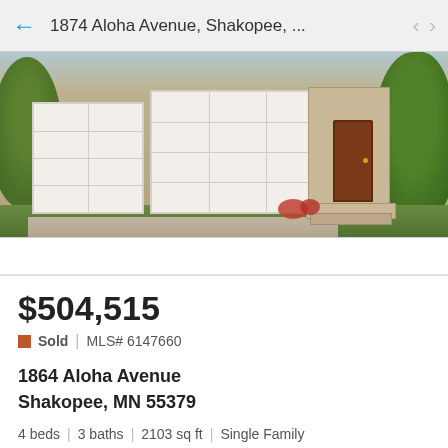1874 Aloha Avenue, Shakopee, ...
[Figure (photo): Exterior photo of a single-family home with tan/beige siding, a two-car garage with white garage doors, a wooden front door with steps, and landscaping with green trees and red flowers.]
$504,515
Sold  |  MLS# 6147660
1864 Aloha Avenue
Shakopee, MN 55379
4 beds  |  3 baths  |  2103 sq ft  |  Single Family
Full details
Listed by: D.R. Horton, Inc.